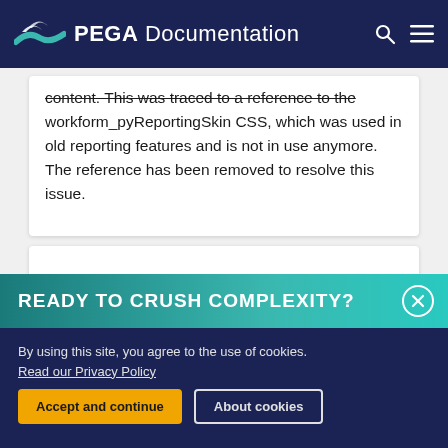PEGA Documentation
content. This was traced to a reference to the workform_pyReportingSkin CSS, which was used in old reporting features and is not in use anymore. The reference has been removed to resolve this issue.
READY TO CRUSH COMPLEXITY?
By using this site, you agree to the use of cookies.
Read our Privacy Policy
Accept and continue
About cookies